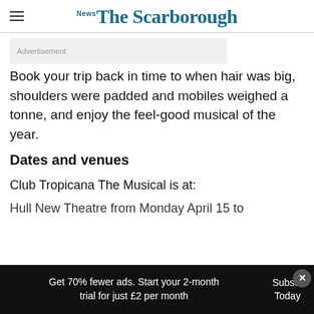The Scarborough News
[Figure (other): Advertisement placeholder box]
Book your trip back in time to when hair was big, shoulders were padded and mobiles weighed a tonne, and enjoy the feel-good musical of the year.
Dates and venues
Club Tropicana The Musical is at:
Hull New Theatre from Monday April 15 to
Get 70% fewer ads. Start your 2-month trial for just £2 per month  Subscribe Today